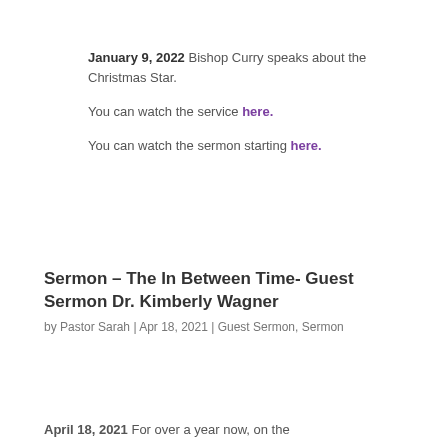January 9, 2022 Bishop Curry speaks about the Christmas Star.

You can watch the service here.

You can watch the sermon starting here.
Sermon – The In Between Time- Guest Sermon Dr. Kimberly Wagner
by Pastor Sarah | Apr 18, 2021 | Guest Sermon, Sermon
April 18, 2021 For over a year now, on the